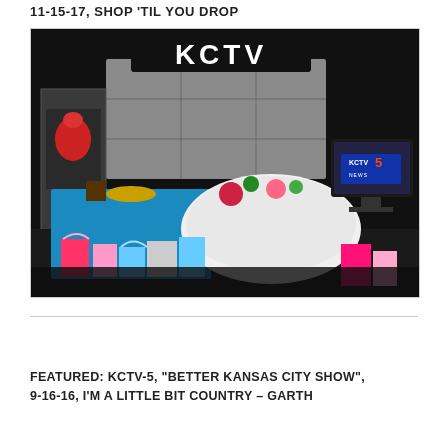11-15-17, SHOP 'TIL YOU DROP
[Figure (photo): KCTV-5 television studio set with decorated tables featuring colorful tablecloths, floral arrangements, gift bags, and party supplies. The KCTV logo is visible on the studio backdrop, and a KCTV5 News monitor is visible on the right side.]
FEATURED: KCTV-5, "BETTER KANSAS CITY SHOW", 9-16-16, I'M A LITTLE BIT COUNTRY – GARTH